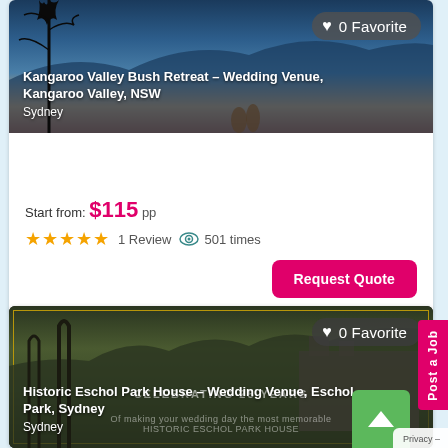[Figure (photo): Kangaroo Valley Bush Retreat wedding venue photo showing sunset over mountains with tree silhouettes]
0 Favorite
Kangaroo Valley Bush Retreat – Wedding Venue, Kangaroo Valley, NSW
Sydney
Start from: $115 pp
★★★★★ 1 Review 👁 501 times
Request Quote
[Figure (photo): Historic Eschol Park House wedding venue photo at dusk with text CELEBRATING 25 YEARS]
0 Favorite
Historic Eschol Park House – Wedding Venue, Eschol Park, Sydney
Sydney